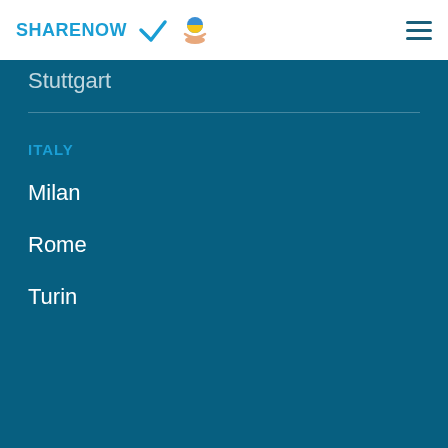SHARENOW
Stuttgart
ITALY
Milan
Rome
Turin